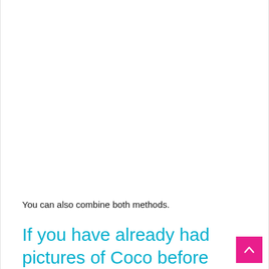You can also combine both methods.
If you have already had pictures of Coco before surgery and want: